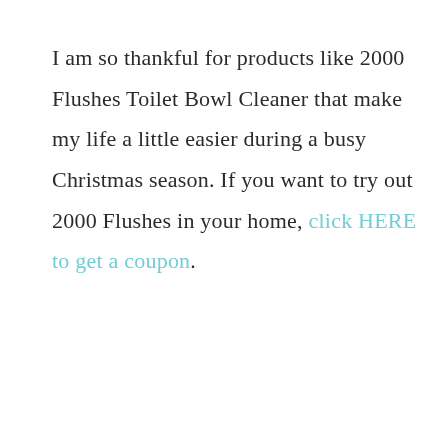I am so thankful for products like 2000 Flushes Toilet Bowl Cleaner that make my life a little easier during a busy Christmas season. If you want to try out 2000 Flushes in your home, click HERE to get a coupon.